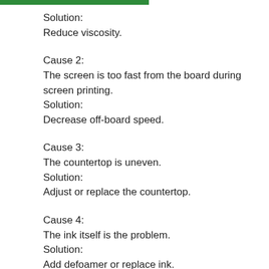Solution:
Reduce viscosity.
Cause 2:
The screen is too fast from the board during screen printing.
Solution:
Decrease off-board speed.
Cause 3:
The countertop is uneven.
Solution:
Adjust or replace the countertop.
Cause 4:
The ink itself is the problem.
Solution:
Add defoamer or replace ink.